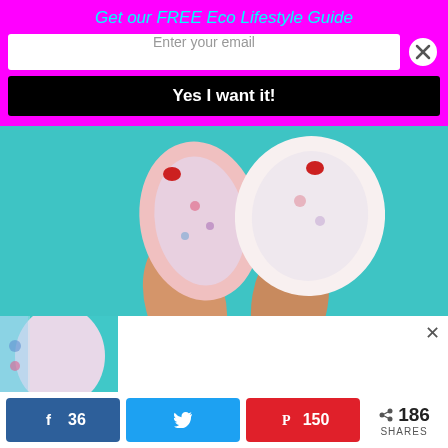Get our FREE Eco Lifestyle Guide
Enter your email
Yes I want it!
[Figure (photo): Hands holding colorful fabric reusable pads against a teal/turquoise background]
[Figure (photo): Thumbnail of colorful fabric reusable pad]
36
150
186 SHARES